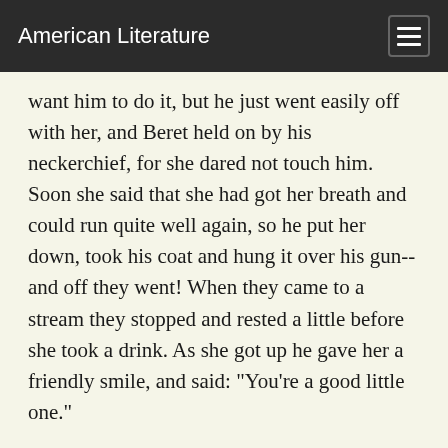American Literature
want him to do it, but he just went easily off with her, and Beret held on by his neckerchief, for she dared not touch him. Soon she said that she had got her breath and could run quite well again, so he put her down, took his coat and hung it over his gun--and off they went! When they came to a stream they stopped and rested a little before she took a drink. As she got up he gave her a friendly smile, and said: "You're a good little one."
Evening was coming on when they reached the soeter. They looked in vain for Mildrid, both there and at her place on the hillside. Their calls died away in the distance, and when Hans noticed the